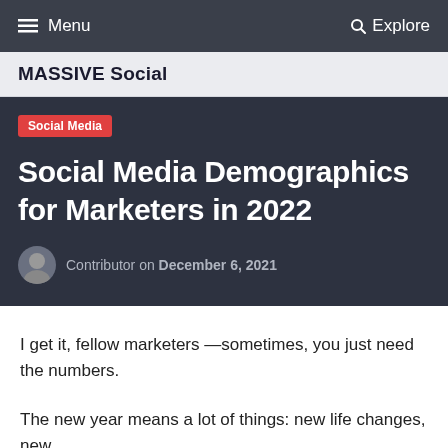Menu  Explore
MASSIVE Social
Social Media
Social Media Demographics for Marketers in 2022
Contributor on December 6, 2021
I get it, fellow marketers —sometimes, you just need the numbers.
The new year means a lot of things: new life changes, new